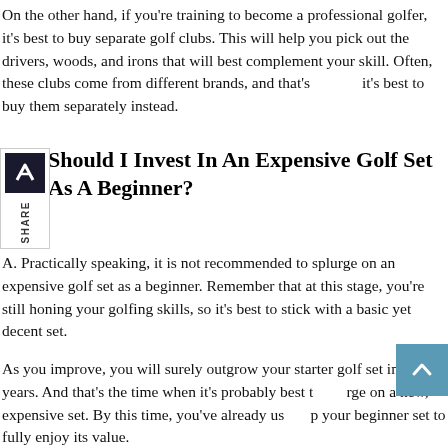On the other hand, if you're training to become a professional golfer, it's best to buy separate golf clubs. This will help you pick out the drivers, woods, and irons that will best complement your skill. Often, these clubs come from different brands, and that's why it's best to buy them separately instead.
Should I Invest In An Expensive Golf Set As A Beginner?
A. Practically speaking, it is not recommended to splurge on an expensive golf set as a beginner. Remember that at this stage, you're still honing your golfing skills, so it's best to stick with a basic yet decent set.
As you improve, you will surely outgrow your starter golf set in a few years. And that's the time when it's probably best to splurge on a new, expensive set. By this time, you've already used up your beginner set to fully enjoy its value.